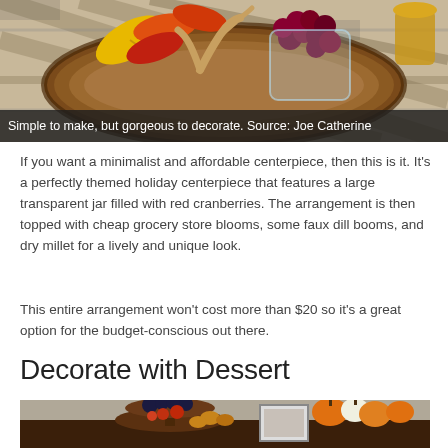[Figure (photo): A wooden log slice serving board with autumn leaves, antlers, and red grapes/cranberries on a plaid tablecloth. Thanksgiving/fall centerpiece decoration.]
Simple to make, but gorgeous to decorate. Source: Joe Catherine
If you want a minimalist and affordable centerpiece, then this is it. It’s a perfectly themed holiday centerpiece that features a large transparent jar filled with red cranberries. The arrangement is then topped with cheap grocery store blooms, some faux dill booms, and dry millet for a lively and unique look.
This entire arrangement won’t cost more than $20 so it’s a great option for the budget-conscious out there.
Decorate with Dessert
[Figure (photo): A tiered fruit and pastry display on a dark wooden server/sideboard, with pumpkins and gourds visible in the background.]